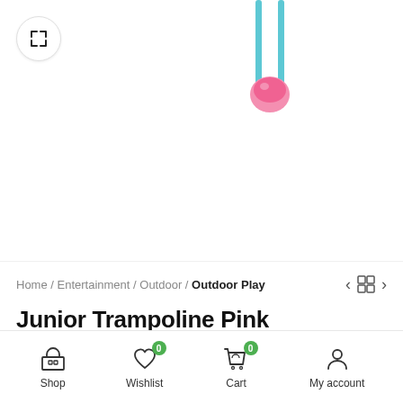[Figure (photo): Partial product image of a pink trampoline with teal/blue poles visible at top center of page, with a circular expand/zoom button in the top left corner]
Home / Entertainment / Outdoor / Outdoor Play
Junior Trampoline Pink
KWD27.500
Out of stock
Shop   Wishlist 0   Cart 0   My account